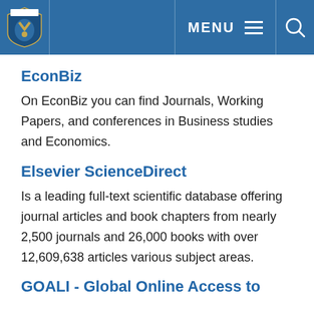MENU [hamburger icon] [search icon]
EconBiz
On EconBiz you can find Journals, Working Papers, and conferences in Business studies and Economics.
Elsevier ScienceDirect
Is a leading full-text scientific database offering journal articles and book chapters from nearly 2,500 journals and 26,000 books with over 12,609,638 articles various subject areas.
GOALI - Global Online Access to...